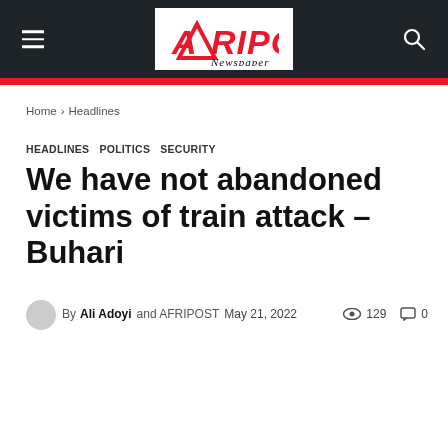AFRIPOST Newspaper
Home › Headlines
HEADLINES  POLITICS  SECURITY
We have not abandoned victims of train attack – Buhari
By Ali Adoyi and AFRIPOST  May 21, 2022   129   0